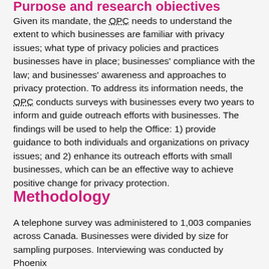Purpose and research objectives
Given its mandate, the OPC needs to understand the extent to which businesses are familiar with privacy issues; what type of privacy policies and practices businesses have in place; businesses' compliance with the law; and businesses' awareness and approaches to privacy protection. To address its information needs, the OPC conducts surveys with businesses every two years to inform and guide outreach efforts with businesses. The findings will be used to help the Office: 1) provide guidance to both individuals and organizations on privacy issues; and 2) enhance its outreach efforts with small businesses, which can be an effective way to achieve positive change for privacy protection.
Methodology
A telephone survey was administered to 1,003 companies across Canada. Businesses were divided by size for sampling purposes. Interviewing was conducted by Phoenix